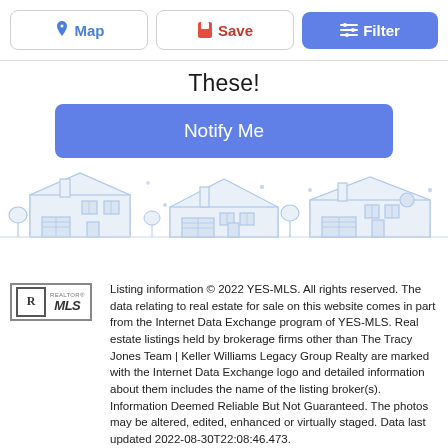[Figure (screenshot): Top navigation bar with Map, Save, and Filter buttons]
These!
[Figure (other): Blue Notify Me button]
[Figure (illustration): Light blue outline illustration of three suburban houses]
Listing information © 2022 YES-MLS. All rights reserved. The data relating to real estate for sale on this website comes in part from the Internet Data Exchange program of YES-MLS. Real estate listings held by brokerage firms other than The Tracy Jones Team | Keller Williams Legacy Group Realty are marked with the Internet Data Exchange logo and detailed information about them includes the name of the listing broker(s). Information Deemed Reliable But Not Guaranteed. The photos may be altered, edited, enhanced or virtually staged. Data last updated 2022-08-30T22:08:46.473.
[Figure (logo): Partial circular logo at the bottom left]